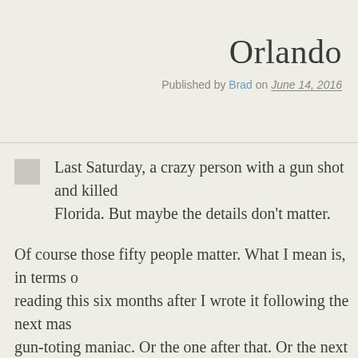Orlando
Published by Brad on June 14, 2016
Last Saturday, a crazy person with a gun shot and killed Florida. But maybe the details don't matter.
Of course those fifty people matter. What I mean is, in terms of reading this six months after I wrote it following the next mas gun-toting maniac. Or the one after that. Or the next ten…
When you're a religious sort of leader-y type person, people lo comfort, explanation, or solace in times like this. I guess that's expecting of me. I don't know. But I got nothin'.